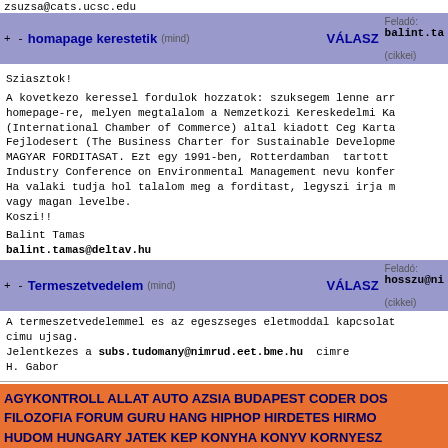zsuzsa@cats.ucsc.edu
+ - homapage kerestetik (mind)   VÁLASZ   Feladó: balint.ta... (cikkei)
Sziasztok!

A kovetkezo keressel fordulok hozzatok: szuksegem lenne arr homepage-re, melyen megtalalom a Nemzetkozi Kereskedelmi Ka (International Chamber of Commerce) altal kiadott Ceg Karta Fejlodesert (The Business Charter for Sustainable Developme MAGYAR FORDITASAT. Ezt egy 1991-ben, Rotterdamban  tartott Industry Conference on Environmental Management nevu konfer Ha valaki tudja hol talalom meg a forditast, legyszi irja m vagy magan levelbe.
Koszi!!

Balint Tamas
balint.tamas@deltav.hu
+ - Termeszetvedelem (mind)   VÁLASZ   Feladó: hosszu@ni... (cikkei)
A termeszetvedelemmel es az egeszseges eletmoddal kapcsolat cimu ujsag.
Jelentkezes a subs.tudomany@nimrud.eet.bme.hu cimre
H. Gabor
AGYKONTROLL ALLAT AUTO AZSIA BUDAPEST CODER DOS FILOZOFIA FORUM GURU HANG HIPHOP HIRDETES HIRMO HUDOM HUNGARY JATEK KEP KONYHA KONYV KORNYESZ LINUX MAGELLAN MAHAL MOBIL MOKA MOZAIK NARANCS NYELU OTTHON OTTHONKA PARA PANDI REITJENY ...